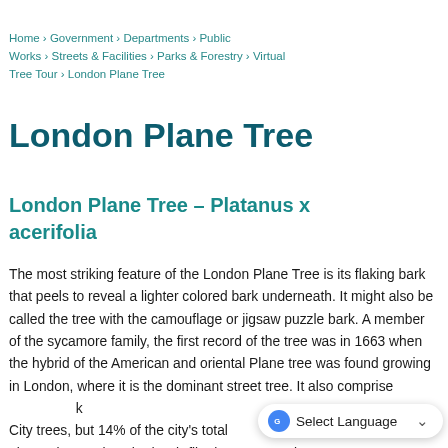Home › Government › Departments › Public Works › Streets & Facilities › Parks & Forestry › Virtual Tree Tour › London Plane Tree
London Plane Tree
London Plane Tree – Platanus x acerifolia
The most striking feature of the London Plane Tree is its flaking bark that peels to reveal a lighter colored bark underneath. It might also be called the tree with the camouflage or jigsaw puzzle bark. A member of the sycamore family, the first record of the tree was in 1663 when the hybrid of the American and oriental Plane tree was found growing in London, where it is the dominant street tree. It also comprises 4% of New York City trees, but 14% of the city's total gives a lot prettier, shady, air-filtering, evaporative-